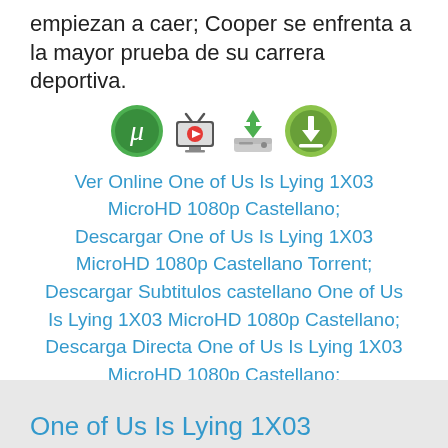empiezan a caer; Cooper se enfrenta a la mayor prueba de su carrera deportiva.
[Figure (illustration): Four icons in a row: uTorrent logo (green circle with mu symbol), a TV/monitor icon with red play button, a hard disk/download icon with green arrow, and a green circle download icon]
Ver Online One of Us Is Lying 1X03 MicroHD 1080p Castellano;
Descargar One of Us Is Lying 1X03 MicroHD 1080p Castellano Torrent;
Descargar Subtitulos castellano One of Us Is Lying 1X03 MicroHD 1080p Castellano;
Descarga Directa One of Us Is Lying 1X03 MicroHD 1080p Castellano;
One of Us Is Lying Temporada 1
One of Us Is Lying 1X03